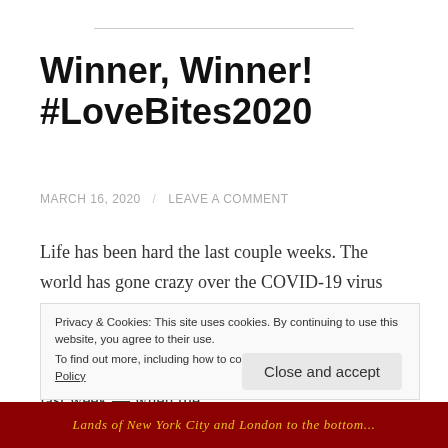Winner, Winner! #LoveBites2020
MARCH 16, 2020 / LEAVE A COMMENT
Life has been hard the last couple weeks. The world has gone crazy over the COVID-19 virus and stress is high. Amongst it though there are still moments of brightness, calm, and smiles. Like last week — which I definitely meant to blog about last week — when the
Privacy & Cookies: This site uses cookies. By continuing to use this website, you agree to their use.
To find out more, including how to control cookies, see here: Cookie Policy
Close and accept
[Figure (photo): Red background image with golden italic text at the bottom of the page]